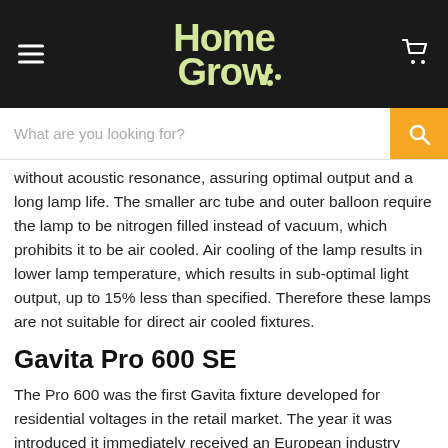HomeGrow [logo with hamburger menu and cart icon]
What are you looking for? [search bar]
without acoustic resonance, assuring optimal output and a long lamp life. The smaller arc tube and outer balloon require the lamp to be nitrogen filled instead of vacuum, which prohibits it to be air cooled. Air cooling of the lamp results in lower lamp temperature, which results in sub-optimal light output, up to 15% less than specified. Therefore these lamps are not suitable for direct air cooled fixtures.
Gavita Pro 600 SE
The Pro 600 was the first Gavita fixture developed for residential voltages in the retail market. The year it was introduced it immediately received an European industry award. The compact complete fixture contains a lamp, HR96 reflector and horticultural quality ballast in one comprehensive package.